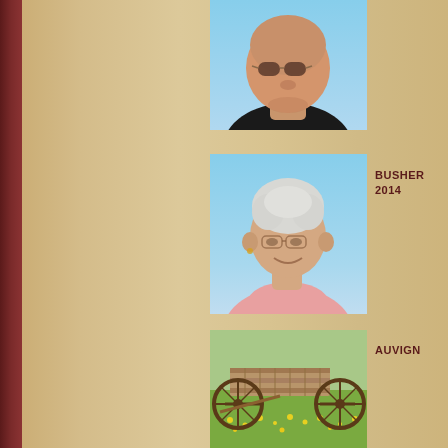[Figure (photo): Portrait photo of a heavyset bald man wearing dark sunglasses and a black shirt, against a light blue sky background]
[Figure (photo): Portrait photo of an elderly woman with white/gray curly hair, glasses, and a pink shirt, smiling, against a light blue background]
BUSHER 2014
[Figure (photo): Outdoor photo of an old wooden wagon with large spoked wheels on a green field with yellow wildflowers]
AUVIGN